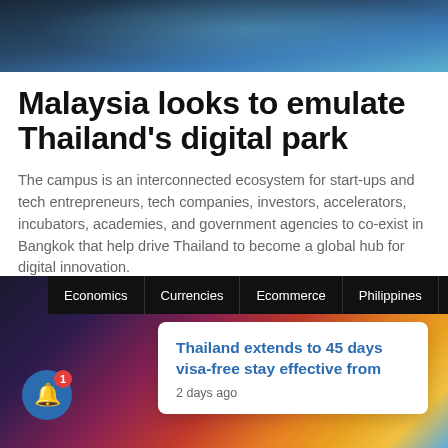[Figure (photo): Top portion of a person's image against a blue/teal background, cropped at the top of the page]
Malaysia looks to emulate Thailand's digital park
The campus is an interconnected ecosystem for start-ups and tech entrepreneurs, tech companies, investors, accelerators, incubators, academies, and government agencies to co-exist in Bangkok that help drive Thailand to become a global hub for digital innovation.
Asean News · April 30, 2022
[Figure (screenshot): Bottom portion showing a website navigation bar with tabs Economics, Currencies, Ecommerce, Philippines, Tech X, and colorful casino chips in the background, with a notification popup saying 'Thailand extends to 45 days visa-free stay effective from' and '2 days ago', plus a blue notification bell button with badge showing 1]
Thailand extends to 45 days visa-free stay effective from
2 days ago